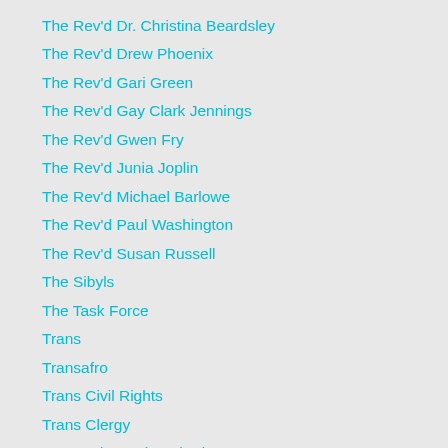The Rev'd Dr. Christina Beardsley
The Rev'd Drew Phoenix
The Rev'd Gari Green
The Rev'd Gay Clark Jennings
The Rev'd Gwen Fry
The Rev'd Junia Joplin
The Rev'd Michael Barlowe
The Rev'd Paul Washington
The Rev'd Susan Russell
The Sibyls
The Task Force
Trans
Transafro
Trans Civil Rights
Trans Clergy
TransEpiscopal Eucharist
Transfiguration
Transformation
Transgender